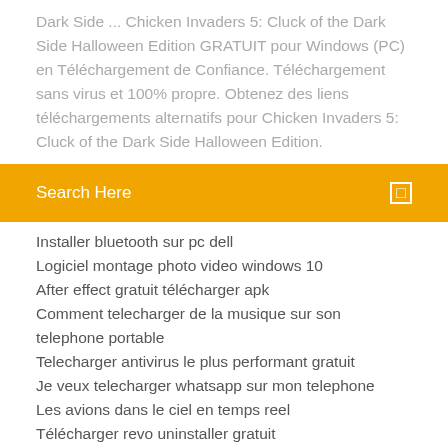Dark Side ... Chicken Invaders 5: Cluck of the Dark Side Halloween Edition GRATUIT pour Windows (PC) en Téléchargement de Confiance. Téléchargement sans virus et 100% propre. Obtenez des liens téléchargements alternatifs pour Chicken Invaders 5: Cluck of the Dark Side Halloween Edition.
Search Here
Installer bluetooth sur pc dell
Logiciel montage photo video windows 10
After effect gratuit télécharger apk
Comment telecharger de la musique sur son telephone portable
Telecharger antivirus le plus performant gratuit
Je veux telecharger whatsapp sur mon telephone
Les avions dans le ciel en temps reel
Télécharger revo uninstaller gratuit
Comment décompresser un fichier winrar